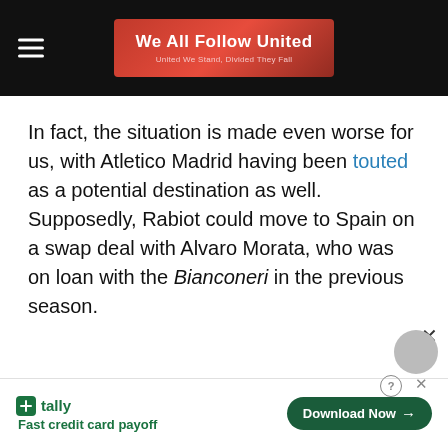We All Follow United — United We Stand, Divided They Fall
In fact, the situation is made even worse for us, with Atletico Madrid having been touted as a potential destination as well. Supposedly, Rabiot could move to Spain on a swap deal with Alvaro Morata, who was on loan with the Bianconeri in the previous season.
Tally — Fast credit card payoff — Download Now